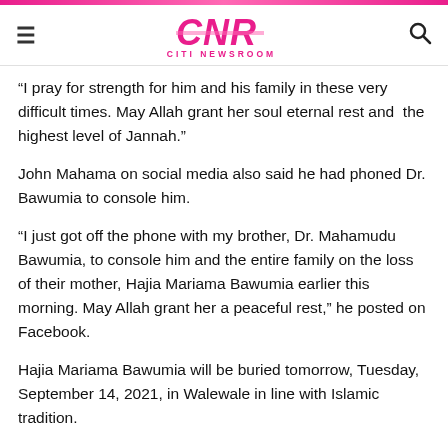CNR CITI NEWSROOM
“I pray for strength for him and his family in these very difficult times. May Allah grant her soul eternal rest and the highest level of Jannah.”
John Mahama on social media also said he had phoned Dr. Bawumia to console him.
“I just got off the phone with my brother, Dr. Mahamudu Bawumia, to console him and the entire family on the loss of their mother, Hajia Mariama Bawumia earlier this morning. May Allah grant her a peaceful rest,” he posted on Facebook.
Hajia Mariama Bawumia will be buried tomorrow, Tuesday, September 14, 2021, in Walewale in line with Islamic tradition.